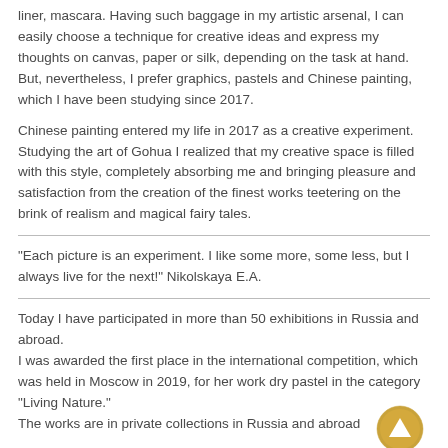liner, mascara. Having such baggage in my artistic arsenal, I can easily choose a technique for creative ideas and express my thoughts on canvas, paper or silk, depending on the task at hand. But, nevertheless, I prefer graphics, pastels and Chinese painting, which I have been studying since 2017.
Chinese painting entered my life in 2017 as a creative experiment. Studying the art of Gohua I realized that my creative space is filled with this style, completely absorbing me and bringing pleasure and satisfaction from the creation of the finest works teetering on the brink of realism and magical fairy tales.
"Each picture is an experiment. I like some more, some less, but I always live for the next!" Nikolskaya E.A.
Today I have participated in more than 50 exhibitions in Russia and abroad.
I was awarded the first place in the international competition, which was held in Moscow in 2019, for her work dry pastel in the category "Living Nature."
The works are in private collections in Russia and abroad